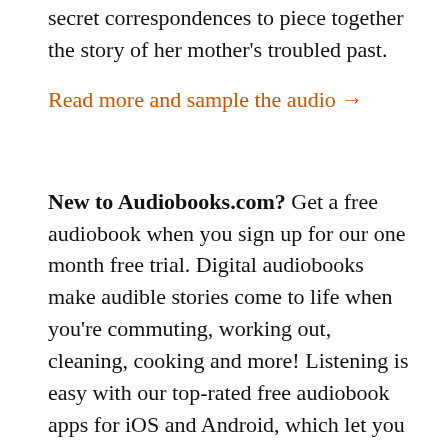secret correspondences to piece together the story of her mother's troubled past.
Read more and sample the audio →
New to Audiobooks.com? Get a free audiobook when you sign up for our one month free trial. Digital audiobooks make audible stories come to life when you're commuting, working out, cleaning, cooking and more! Listening is easy with our top-rated free audiobook apps for iOS and Android, which let you download & listen to bestselling audiobooks on the go, wherever you are. Click here to get your